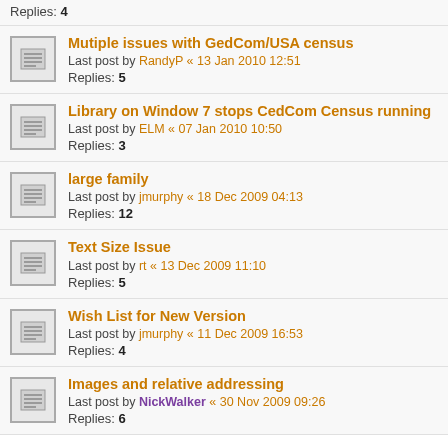Replies: 4
Mutiple issues with GedCom/USA census
Last post by RandyP « 13 Jan 2010 12:51
Replies: 5
Library on Window 7 stops CedCom Census running
Last post by ELM « 07 Jan 2010 10:50
Replies: 3
large family
Last post by jmurphy « 18 Dec 2009 04:13
Replies: 12
Text Size Issue
Last post by rt « 13 Dec 2009 11:10
Replies: 5
Wish List for New Version
Last post by jmurphy « 11 Dec 2009 16:53
Replies: 4
Images and relative addressing
Last post by NickWalker « 30 Nov 2009 09:26
Replies: 6